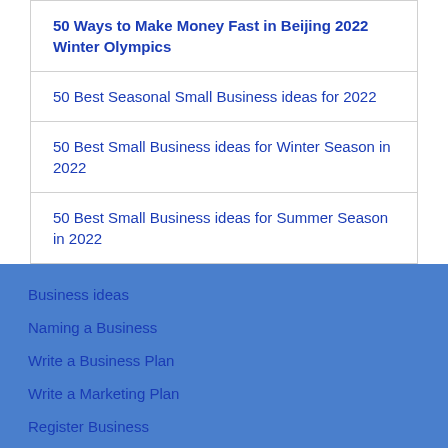50 Ways to Make Money Fast in Beijing 2022 Winter Olympics
50 Best Seasonal Small Business ideas for 2022
50 Best Small Business ideas for Winter Season in 2022
50 Best Small Business ideas for Summer Season in 2022
Business ideas
Naming a Business
Write a Business Plan
Write a Marketing Plan
Register Business